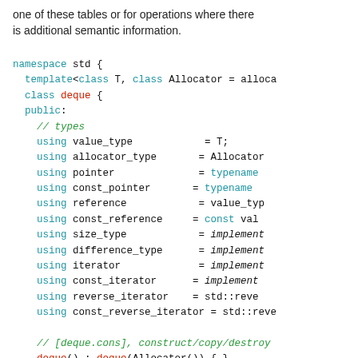one of these tables or for operations where there is additional semantic information.
[Figure (screenshot): C++ code snippet showing namespace std deque class definition with type aliases and constructor declarations]